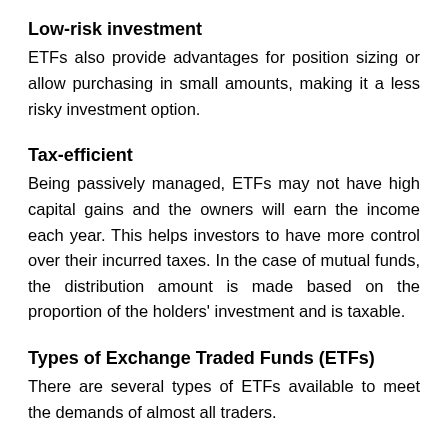Low-risk investment
ETFs also provide advantages for position sizing or allow purchasing in small amounts, making it a less risky investment option.
Tax-efficient
Being passively managed, ETFs may not have high capital gains and the owners will earn the income each year. This helps investors to have more control over their incurred taxes. In the case of mutual funds, the distribution amount is made based on the proportion of the holders' investment and is taxable.
Types of Exchange Traded Funds (ETFs)
There are several types of ETFs available to meet the demands of almost all traders.